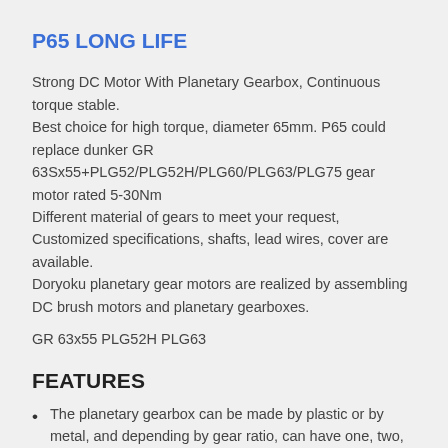P65 LONG LIFE
Strong DC Motor With Planetary Gearbox, Continuous torque stable.
Best choice for high torque, diameter 65mm. P65 could replace dunker GR 63Sx55+PLG52/PLG52H/PLG60/PLG63/PLG75 gear motor rated 5-30Nm
Different material of gears to meet your request, Customized specifications, shafts, lead wires, cover are available.
Doryoku planetary gear motors are realized by assembling DC brush motors and planetary gearboxes.
GR 63x55 PLG52H PLG63
FEATURES
The planetary gearbox can be made by plastic or by metal, and depending by gear ratio, can have one, two, three or